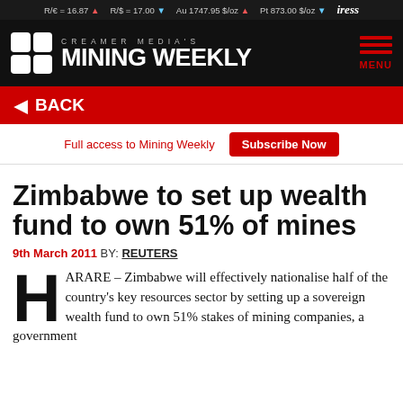R/€ = 16.87 ▲   R/$ = 17.00 ▼   Au 1747.95 $/oz ▲   Pt 873.00 $/oz ▼   iress
[Figure (logo): Creamer Media's Mining Weekly logo with grid icon on black background]
◄ BACK
Full access to Mining Weekly
Subscribe Now
Zimbabwe to set up wealth fund to own 51% of mines
9th March 2011  BY: REUTERS
HARARE – Zimbabwe will effectively nationalise half of the country's key resources sector by setting up a sovereign wealth fund to own 51% stakes of mining companies, a government